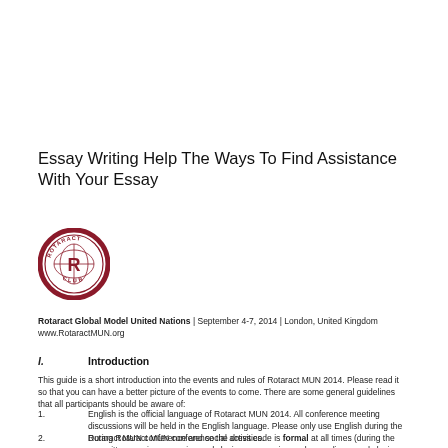Essay Writing Help The Ways To Find Assistance With Your Essay
[Figure (logo): Rotaract Club circular logo with globe and 'R' in center, red border with text 'ROTARACT CLUB']
Rotaract Global Model United Nations | September 4-7, 2014 | London, United Kingdom www.RotaractMUN.org
I. Introduction
This guide is a short introduction into the events and rules of Rotaract MUN 2014. Please read it so that you can have a better picture of the events to come. There are some general guidelines that all participants should be aware of:
1.English is the official language of Rotaract MUN 2014. All conference meeting discussions will be held in the English language. Please only use English during the Rotaract MUN conference and social activities.
2.During Rotaract MUN conference the dress code is formal at all times (during the committee sessions, opening and closing ceremonies, welcome dinner and closing dinner). This means suit and tie for men and elegant